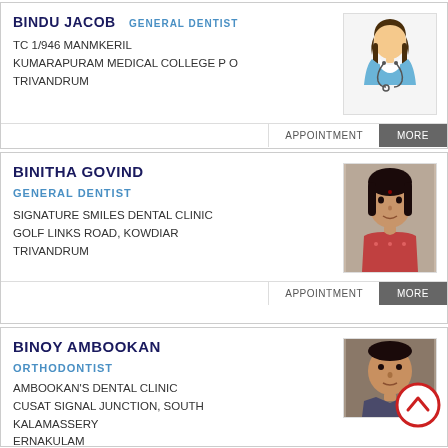BINDU JACOB  GENERAL DENTIST
TC 1/946 MANMKERIL
KUMARAPURAM MEDICAL COLLEGE P O
TRIVANDRUM
[Figure (illustration): Female doctor illustration with stethoscope]
APPOINTMENT  MORE
BINITHA GOVIND
GENERAL DENTIST
SIGNATURE SMILES DENTAL CLINIC
GOLF LINKS ROAD, KOWDIAR
TRIVANDRUM
[Figure (photo): Photo of Dr. Binitha Govind, female dentist]
APPOINTMENT  MORE
BINOY AMBOOKAN
ORTHODONTIST
AMBOOKAN'S DENTAL CLINIC
CUSAT SIGNAL JUNCTION, SOUTH
KALAMASSERY
ERNAKULAM
[Figure (photo): Photo of Dr. Binoy Ambookan, male orthodontist]
APPOINTMENT  MORE